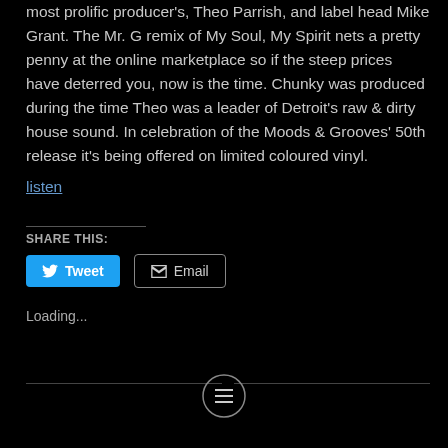most prolific producer's, Theo Parrish, and label head Mike Grant. The Mr. G remix of My Soul, My Spirit nets a pretty penny at the online marketplace so if the steep prices have deterred you, now is the time. Chunky was produced during the time Theo was a leader of Detroit's raw & dirty house sound. In celebration of the Moods & Grooves' 50th release it's being offered on limited coloured vinyl.
listen
SHARE THIS:
Tweet
Email
Loading...